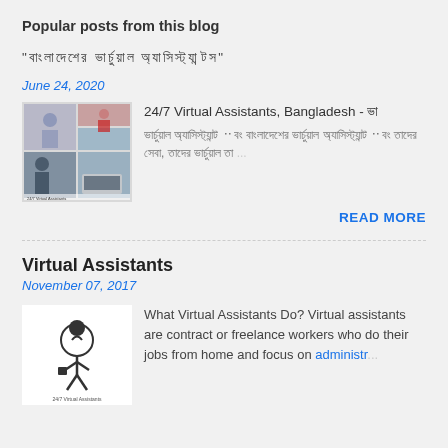Popular posts from this blog
“বাংলাদেশের ভার্চুয়াল অ্যাসিস্ট্যান্টস”
June 24, 2020
[Figure (photo): Collage photo of virtual assistants working, with 24/7 Virtual Assistants branding]
24/7 Virtual Assistants, Bangladesh - ভার্চুয়াল অ্যাসিস্ট্যান্ট এবং বাংলাদেশের ভার্চুয়াল অ্যাসিস্ট্যান্ট এবং তাদের সেবা, তাদের ভার্চুয়াল তা ...
READ MORE
Virtual Assistants
November 07, 2017
[Figure (logo): 24/7 Virtual Assistants logo - figure of person with bag]
What Virtual Assistants Do? Virtual assistants are contract or freelance workers who do their jobs from home and focus on administr...